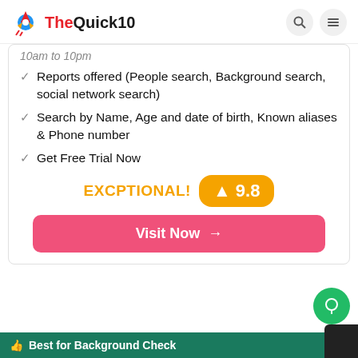TheQuick10
10am to 10pm
Reports offered (People search, Background search, social network search)
Search by Name, Age and date of birth, Known aliases & Phone number
Get Free Trial Now
EXCPTIONAL! 9.8
Visit Now →
Best for Background Check